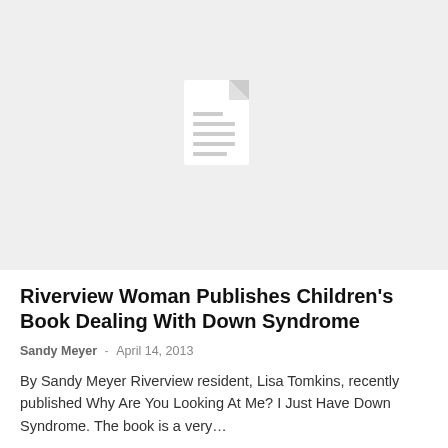[Figure (illustration): Light gray placeholder image with a document/file icon in the center, representing a missing or unavailable article image.]
Riverview Woman Publishes Children’s Book Dealing With Down Syndrome
Sandy Meyer  -  April 14, 2013
By Sandy Meyer Riverview resident, Lisa Tomkins, recently published Why Are You Looking At Me?  I Just Have Down Syndrome. The book is a very…